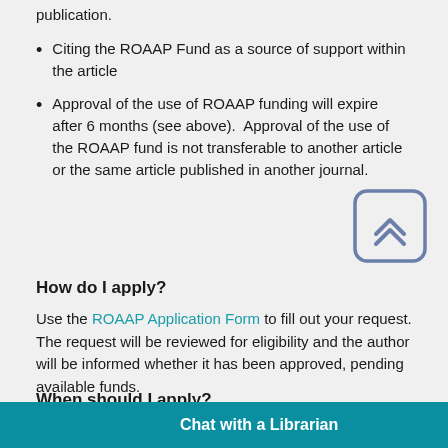publication.
Citing the ROAAP Fund as a source of support within the article
Approval of the use of ROAAP funding will expire after 6 months (see above).  Approval of the use of the ROAAP fund is not transferable to another article or the same article published in another journal.
[Figure (other): Scroll to top button with double chevron up icon, rounded square border in slate blue]
How do I apply?
Use the ROAAP Application Form to fill out your request. The request will be reviewed for eligibility and the author will be informed whether it has been approved, pending available funds.
When should I apply?
Preferably, you shou
Chat with a Librarian